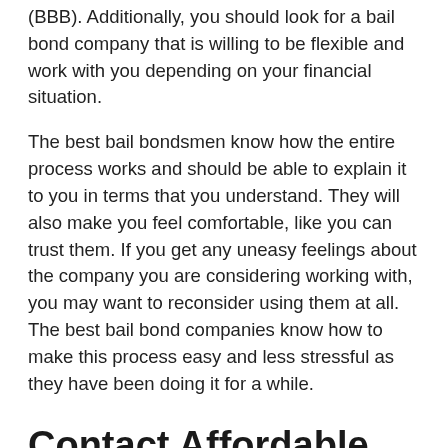(BBB). Additionally, you should look for a bail bond company that is willing to be flexible and work with you depending on your financial situation.
The best bail bondsmen know how the entire process works and should be able to explain it to you in terms that you understand. They will also make you feel comfortable, like you can trust them. If you get any uneasy feelings about the company you are considering working with, you may want to reconsider using them at all. The best bail bond companies know how to make this process easy and less stressful as they have been doing it for a while.
Contact Affordable Bail Bonding Right Now!